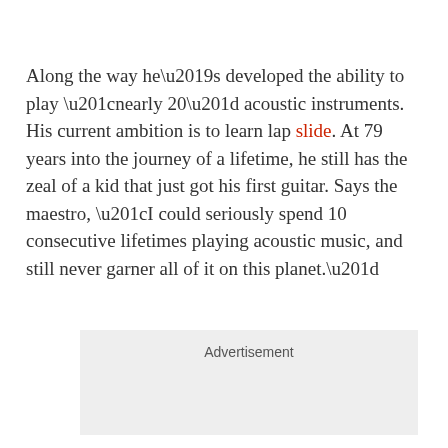Along the way he’s developed the ability to play “nearly 20” acoustic instruments. His current ambition is to learn lap slide. At 79 years into the journey of a lifetime, he still has the zeal of a kid that just got his first guitar. Says the maestro, “I could seriously spend 10 consecutive lifetimes playing acoustic music, and still never garner all of it on this planet.”
[Figure (other): Advertisement placeholder box with light grey background]